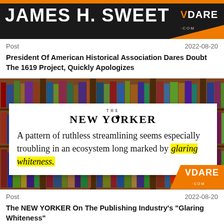[Figure (screenshot): VDARE banner with name JAMES H. SWEET on dark background with orange stripe]
Post    2022-08-20
President Of American Historical Association Dares Doubt The 1619 Project, Quickly Apologizes
[Figure (screenshot): Bookshelf background image with New Yorker quote overlay: 'A pattern of ruthless streamlining seems especially troubling in an ecosystem long marked by glaring whiteness.' and VDARE logo in corner]
Post    2022-08-20
The NEW YORKER On The Publishing Industry's "Glaring Whiteness"
[Figure (photo): Partial image at bottom, partially visible]